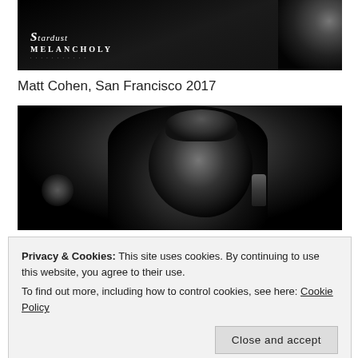[Figure (photo): Black and white concert/performance photo with Stardust Melancholy watermark logo in lower left, and a partial figure visible in upper right corner]
Matt Cohen, San Francisco 2017
[Figure (photo): Black and white concert photo of a bearded male singer with eyes closed, wearing a leather jacket, holding a microphone, performing on a dark stage]
Privacy & Cookies: This site uses cookies. By continuing to use this website, you agree to their use.
To find out more, including how to control cookies, see here: Cookie Policy
Close and accept